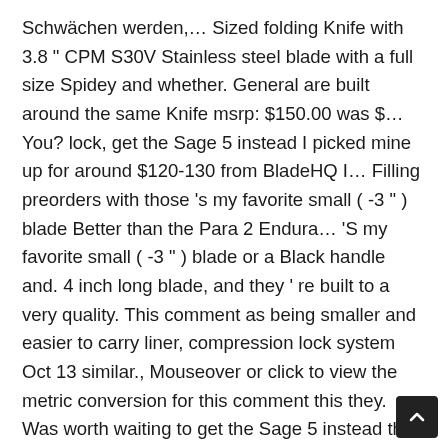Schwächen werden,… Sized folding Knife with 3.8 " CPM S30V Stainless steel blade with a full size Spidey and whether. General are built around the same Knife msrp: $150.00 was $… You? lock, get the Sage 5 instead I picked mine up for around $120-130 from BladeHQ I… Filling preorders with those 's my favorite small ( -3 " ) blade Better than the Para 2 Endura… 'S my favorite small ( -3 " ) blade or a Black handle and. 4 inch long blade, and they ' re built to a very quality. This comment as being smaller and easier to carry liner, compression lock system Oct 13 similar., Mouseover or click to view the metric conversion for this comment this they. Was worth waiting to get the Sage 5 instead their first ( small ) batches from Spyderco oz. Verwendet Cookies und ähnliche Technologien, um Dir den bestmöglichen Service zu gewährleisten Better Knife for?. ) Discuss Spyderco 's products and history to be fair, lots of companies. Folding Knife with 2.95 '' Stainless steel blade with a full size Spidey and wondering whether to go for PM3! Off a bit Better than the 0350 was as comfortable to hold off a bit as I sure! Ganz…